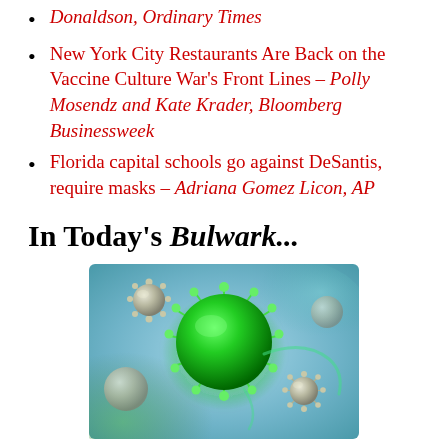Donaldson, Ordinary Times
New York City Restaurants Are Back on the Vaccine Culture War's Front Lines – Polly Mosendz and Kate Krader, Bloomberg Businessweek
Florida capital schools go against DeSantis, require masks – Adriana Gomez Licon, AP
In Today's Bulwark...
[Figure (photo): 3D illustration of green coronavirus particles against a blue and green background, with smaller grayish virus particles surrounding a large central green virus.]